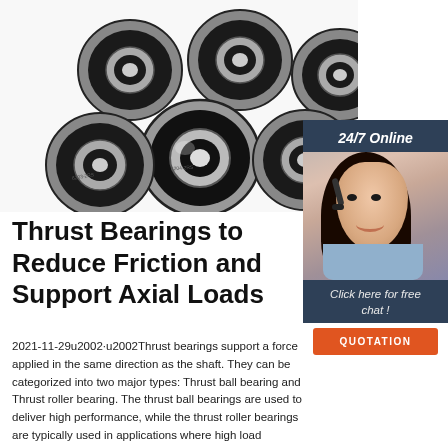[Figure (photo): Multiple black and silver ball bearings with rubber seals, stacked and arranged in a cluster on a white background.]
[Figure (infographic): Sidebar widget showing '24/7 Online' label, a woman with a headset smiling, text 'Click here for free chat!', and an orange QUOTATION button.]
Thrust Bearings to Reduce Friction and Support Axial Loads
2021-11-29u2002·u2002Thrust bearings support a force applied in the same direction as the shaft. They can be categorized into two major types: Thrust ball bearing and Thrust roller bearing. The thrust ball bearings are used to deliver high performance, while the thrust roller bearings are typically used in applications where high load